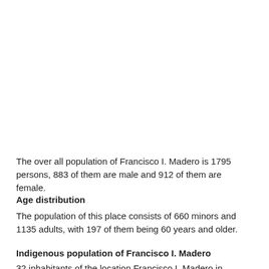The over all population of Francisco I. Madero is 1795 persons, 883 of them are male and 912 of them are female.
Age distribution
The population of this place consists of 660 minors and 1135 adults, with 197 of them being 60 years and older.
Indigenous population of Francisco I. Madero
32 inhabitants of the location Francisco I. Madero in Mexico live in